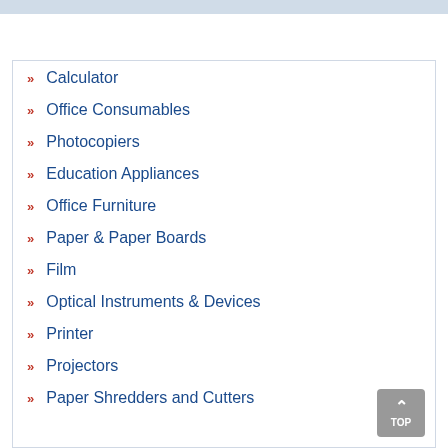Calculator
Office Consumables
Photocopiers
Education Appliances
Office Furniture
Paper & Paper Boards
Film
Optical Instruments & Devices
Printer
Projectors
Paper Shredders and Cutters